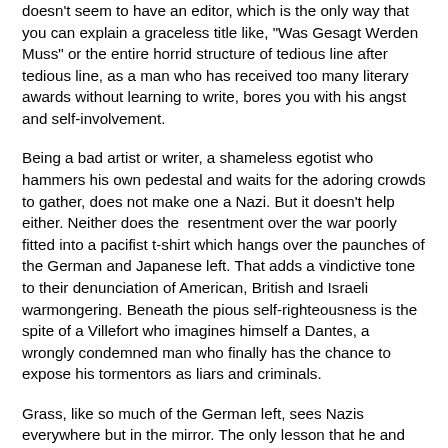doesn't seem to have an editor, which is the only way that you can explain a graceless title like, "Was Gesagt Werden Muss" or the entire horrid structure of tedious line after tedious line, as a man who has received too many literary awards without learning to write, bores you with his angst and self-involvement.
Being a bad artist or writer, a shameless egotist who hammers his own pedestal and waits for the adoring crowds to gather, does not make one a Nazi. But it doesn't help either. Neither does the  resentment over the war poorly fitted into a pacifist t-shirt which hangs over the paunches of the German and Japanese left. That adds a vindictive tone to their denunciation of American, British and Israeli warmongering. Beneath the pious self-righteousness is the spite of a Villefort who imagines himself a Dantes, a wrongly condemned man who finally has the chance to expose his tormentors as liars and criminals.
Grass, like so much of the German left, sees Nazis everywhere but in the mirror. The only lesson that he and his comrades have drawn is that they were wrong to march right, when they should have marched left.